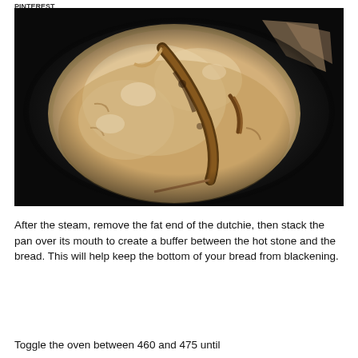PINTEREST
[Figure (photo): Top-down view of a round artisan sourdough bread loaf inside a dark Dutch oven pan, showing a scored crust with golden-brown coloring, sitting on parchment paper against a black background.]
After the steam, remove the fat end of the dutchie, then stack the pan over its mouth to create a buffer between the hot stone and the bread. This will help keep the bottom of your bread from blackening.
Toggle the oven between 460 and 475 until